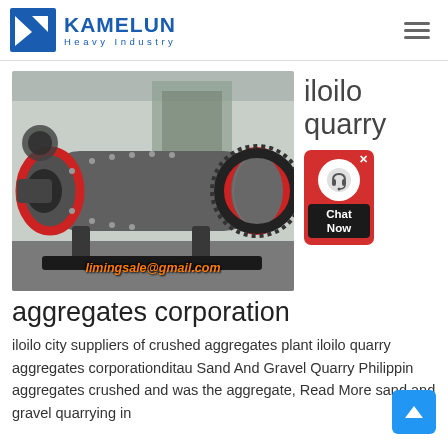KAMELUN Heavy Industry
[Figure (photo): Industrial ball mill machine (grey cylindrical grinding mill with red rings) displayed in a factory setting. Email overlay reads: limingsale@gmail.com]
iloilo quarry
[Figure (other): Red chat widget with headset icon and 'Chat Now' label]
aggregates corporation
iloilo city suppliers of crushed aggregates plant iloilo quarry aggregates corporationditau Sand And Gravel Quarry Philippin aggregates crushed and was the aggregate, Read More sand and gravel quarrying in